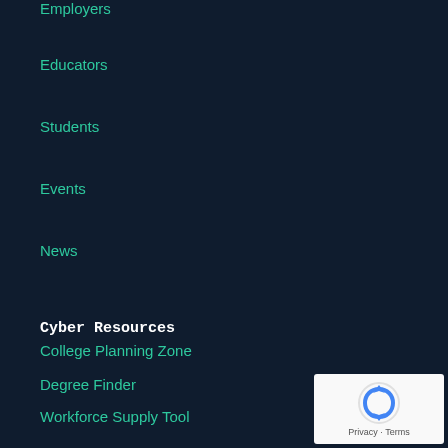Employers
Educators
Students
Events
News
Cyber Resources
College Planning Zone
Degree Finder
Workforce Supply Tool
Cyber Accomplishments Report
Cyber TED Talks
Workforce Development
Aerospace Professional Development Center